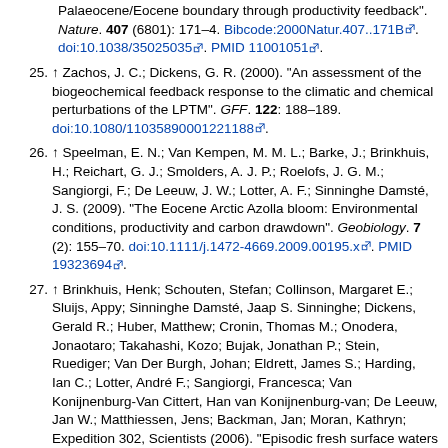Palaeocene/Eocene boundary through productivity feedback". Nature. 407 (6801): 171–4. Bibcode:2000Natur.407..171B. doi:10.1038/35025035. PMID 11001051.
25. ↑ Zachos, J. C.; Dickens, G. R. (2000). "An assessment of the biogeochemical feedback response to the climatic and chemical perturbations of the LPTM". GFF. 122: 188–189. doi:10.1080/11035890001221188.
26. ↑ Speelman, E. N.; Van Kempen, M. M. L.; Barke, J.; Brinkhuis, H.; Reichart, G. J.; Smolders, A. J. P.; Roelofs, J. G. M.; Sangiorgi, F.; De Leeuw, J. W.; Lotter, A. F.; Sinninghe Damsté, J. S. (2009). "The Eocene Arctic Azolla bloom: Environmental conditions, productivity and carbon drawdown". Geobiology. 7 (2): 155–70. doi:10.1111/j.1472-4669.2009.00195.x. PMID 19323694.
27. ↑ Brinkhuis, Henk; Schouten, Stefan; Collinson, Margaret E.; Sluijs, Appy; Sinninghe Damsté, Jaap S. Sinninghe; Dickens, Gerald R.; Huber, Matthew; Cronin, Thomas M.; Onodera, Jonaotaro; Takahashi, Kozo; Bujak, Jonathan P.; Stein, Ruediger; Van Der Burgh, Johan; Eldrett, James S.; Harding, Ian C.; Lotter, André F.; Sangiorgi, Francesca; Van Konijnenburg-Van Cittert, Han van Konijnenburg-van; De Leeuw, Jan W.; Matthiessen, Jens; Backman, Jan; Moran, Kathryn; Expedition 302, Scientists (2006). "Episodic fresh surface waters in the Eocene Arctic Ocean". Nature. 441